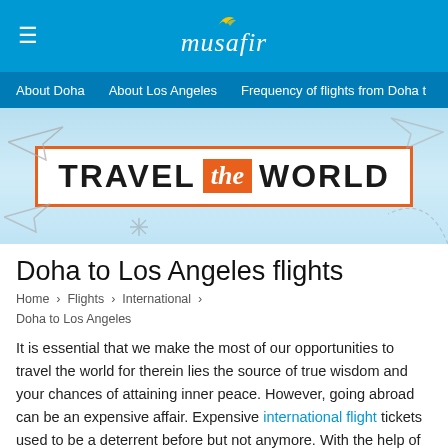musafir
About Doha  About Los Angeles  Frequency of flights from Doha t
[Figure (illustration): Travel the World promotional banner with paper planes on a light blue background. Orange-bordered box contains text 'TRAVEL the WORLD' where 'the' is in an orange filled badge.]
Doha to Los Angeles flights
Home › Flights › International › Doha to Los Angeles
It is essential that we make the most of our opportunities to travel the world for therein lies the source of true wisdom and your chances of attaining inner peace. However, going abroad can be an expensive affair. Expensive international flight tickets used to be a deterrent before but not anymore. With the help of readily available cheap air tickets, you can finally go and indulge yourself in the confines of luxury that travelling